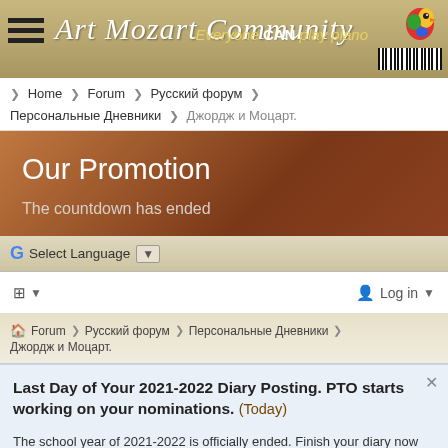Art Mozart Community — Everyone CAN play piano
Home > Forum > Русский форум > Персональные Дневники > Джордж и Моцарт.
Our Promotion
The countdown has ended
G Select Language ▼
Log in
Forum > Русский форум > Персональные Дневники > Джордж и Моцарт.
Last Day of Your 2021-2022 Diary Posting. PTO starts working on your nominations. (Today)
The school year of 2021-2022 is officially ended. Finish your diary now and